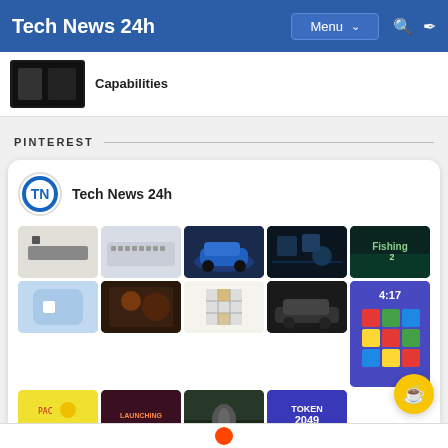Tech News 24h — Menu
Capabilities
PINTEREST
[Figure (screenshot): Pinterest widget card showing Tech News 24h logo and a grid of pinned images including gadgets, cars, games, and tech content]